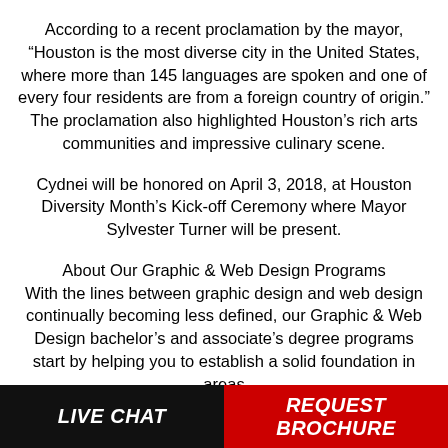According to a recent proclamation by the mayor, “Houston is the most diverse city in the United States, where more than 145 languages are spoken and one of every four residents are from a foreign country of origin.” The proclamation also highlighted Houston’s rich arts communities and impressive culinary scene.
Cydnei will be honored on April 3, 2018, at Houston Diversity Month’s Kick-off Ceremony where Mayor Sylvester Turner will be present.
About Our Graphic & Web Design Programs
With the lines between graphic design and web design continually becoming less defined, our Graphic & Web Design bachelor’s and associate’s degree programs start by helping you to establish a solid foundation in areas
LIVE CHAT   REQUEST BROCHURE